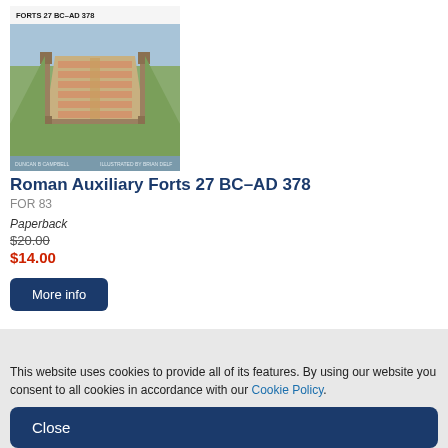[Figure (illustration): Book cover for 'Roman Auxiliary Forts 27 BC–AD 378' showing aerial view illustration of a Roman auxiliary fort with surrounding landscape, soldiers, and the text 'FORTS 27 BC–AD 378' at the top, authored by Duncan B. Campbell, illustrated by Brian Delf.]
Roman Auxiliary Forts 27 BC–AD 378
FOR 83
Paperback
$20.00
$14.00
More info
This website uses cookies to provide all of its features. By using our website you consent to all cookies in accordance with our Cookie Policy.
Close